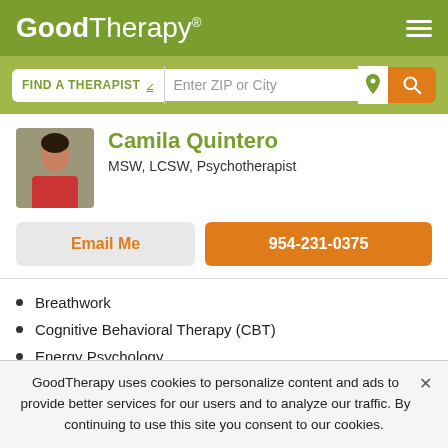GoodTherapy®
FIND A THERAPIST  Enter ZIP or City
Camila Quintero
MSW, LCSW, Psychotherapist
Email Me
954-231-0375
Breathwork
Cognitive Behavioral Therapy (CBT)
Energy Psychology
Holistic Psychotherapy
GoodTherapy uses cookies to personalize content and ads to provide better services for our users and to analyze our traffic. By continuing to use this site you consent to our cookies.